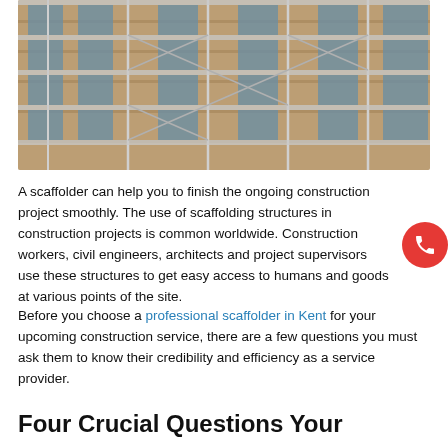[Figure (photo): Scaffolding on the exterior of a multi-story stone building under construction, showing metal poles and planks across multiple floors with windows visible behind the scaffolding.]
A scaffolder can help you to finish the ongoing construction project smoothly. The use of scaffolding structures in construction projects is common worldwide. Construction workers, civil engineers, architects and project supervisors use these structures to get easy access to humans and goods at various points of the site.
Before you choose a professional scaffolder in Kent for your upcoming construction service, there are a few questions you must ask them to know their credibility and efficiency as a service provider.
Four Crucial Questions Your